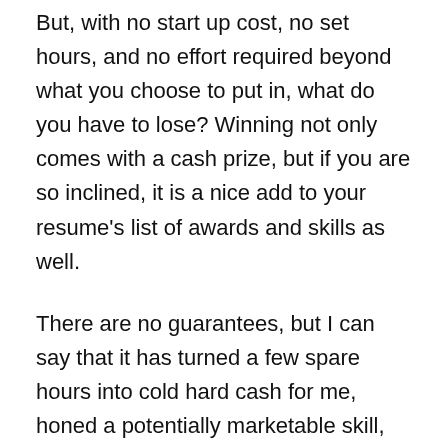But, with no start up cost, no set hours, and no effort required beyond what you choose to put in, what do you have to lose? Winning not only comes with a cash prize, but if you are so inclined, it is a nice add to your resume's list of awards and skills as well.
There are no guarantees, but I can say that it has turned a few spare hours into cold hard cash for me, honed a potentially marketable skill, and given me a nice buzz from all the tech sleuthing and troll slaying. Given the acumen of the people who read your site, I think it may well work for them.